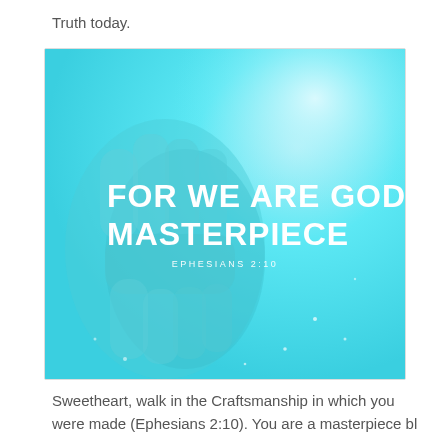Truth today.
[Figure (illustration): Cyan/teal colored image of clasped hands with white text overlay reading 'FOR WE ARE GOD'S MASTERPIECE' and 'EPHESIANS 2:10' below it]
Sweetheart, walk in the Craftsmanship in which you were made (Ephesians 2:10). You are a masterpiece bl...